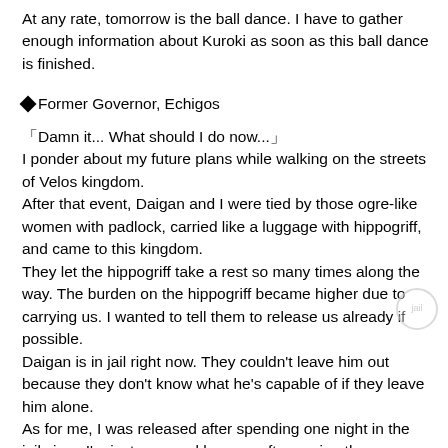At any rate, tomorrow is the ball dance. I have to gather enough information about Kuroki as soon as this ball dance is finished.
◆Former Governor, Echigos
「Damn it... What should I do now...」
I ponder about my future plans while walking on the streets of Velos kingdom.
After that event, Daigan and I were tied by those ogre-like women with padlock, carried like a luggage with hippogriff, and came to this kingdom.
They let the hippogriff take a rest so many times along the way. The burden on the hippogriff became higher due to carrying us. I wanted to tell them to release us already if possible.
Daigan is in jail right now. They couldn't leave him out because they don't know what he's capable of if they leave him alone.
As for me, I was released after spending one night in the jail since I'm just a normal human, after paying the maintenance cost for letting me into jail.
Though it was a good thing that I've been released from the